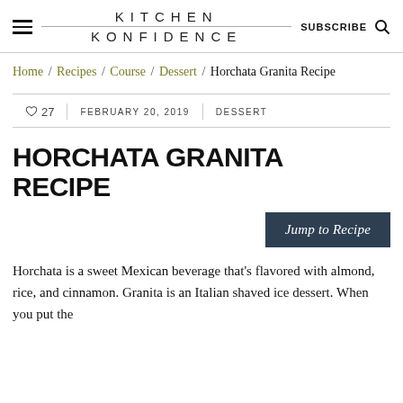KITCHEN KONFIDENCE
Home / Recipes / Course / Dessert / Horchata Granita Recipe
27  FEBRUARY 20, 2019  DESSERT
HORCHATA GRANITA RECIPE
Jump to Recipe
Horchata is a sweet Mexican beverage that’s flavored with almond, rice, and cinnamon. Granita is an Italian shaved ice dessert. When you put the